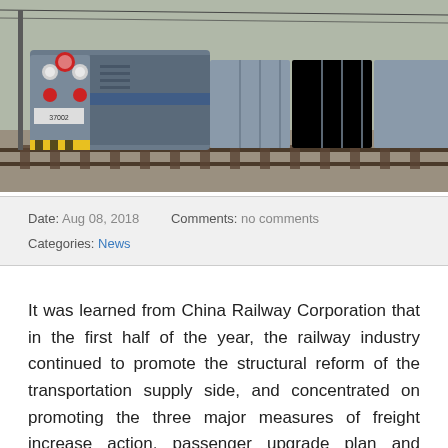[Figure (photo): A freight train with a blue/grey locomotive on railway tracks, industrial rail yard setting with gravel ballast and overhead wires visible.]
Date: Aug 08, 2018    Comments: no comments
Categories: News
It was learned from China Railway Corporation that in the first half of the year, the railway industry continued to promote the structural reform of the transportation supply side, and concentrated on promoting the three major measures of freight increase action, passenger upgrade plan and Fuxing brand strategy. Achieving substantial year-on-year growth, the revival number reached 23 municipalities, capital cities and the capital of